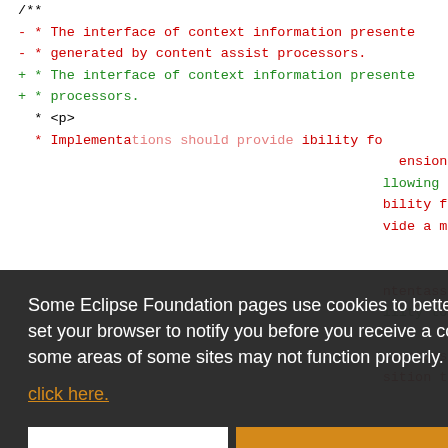[Figure (screenshot): Code diff view showing JavaDoc comment lines with red (removed) and green (added) lines in a monospace font on white background, partially obscured by a cookie consent overlay.]
Some Eclipse Foundation pages use cookies to better serve you when you return to the site. You can set your browser to notify you before you receive a cookie or turn off cookies. If you do so, however, some areas of some sites may not function properly. To read Eclipse Foundation Privacy Policy click here.